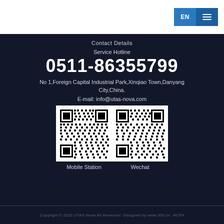EN | menu
Contact Details
Service Hotline
0511-86355799
No 1,Foreign Capital Industrial Park,Xinqiao Town,Danyang City,China.
E-mail: info@utas-nova.com
[Figure (other): Two QR codes side by side: Mobile Station QR code (left) and Wechat QR code (right)]
Mobile Station    Wechat
Copyright © 2022 UTAS-Nova All Reversed  Designed by www.300.cn  #ICP#